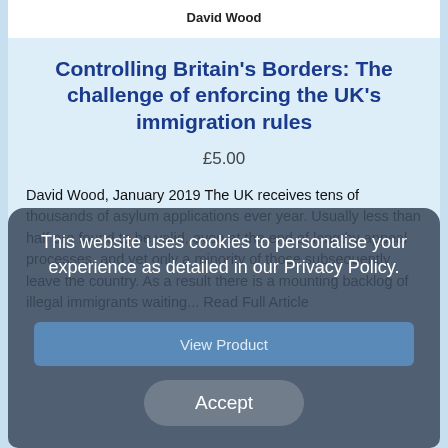David Wood
Controlling Britain's Borders: The challenge of enforcing the UK's immigration rules
£5.00
David Wood, January 2019 The UK receives tens of thousands of asylum applications ever year. Usually less than half are found to be valid, even at the end of lengthy appeal processes, and yet only a minority of those subsequently leave the country. As a result there is a mounting backlog of illegal immigrants waiting... Read Full Article
This website uses cookies to personalise your experience as detailed in our Privacy Policy.
View Product
Accept